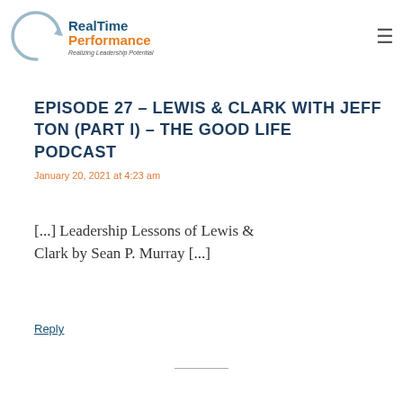RealTime Performance — Realizing Leadership Potential
EPISODE 27 - LEWIS & CLARK WITH JEFF TON (PART I) - THE GOOD LIFE PODCAST
January 20, 2021 at 4:23 am
[...] Leadership Lessons of Lewis & Clark by Sean P. Murray [...]
Reply